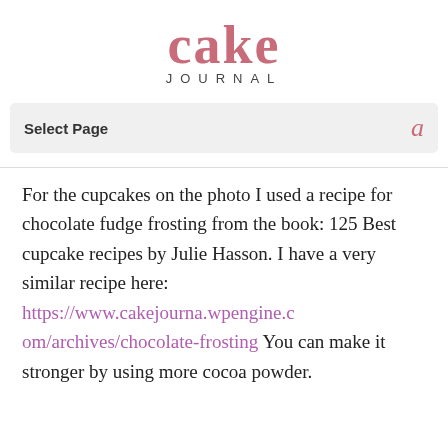cake JOURNAL
Select Page
For the cupcakes on the photo I used a recipe for chocolate fudge frosting from the book: 125 Best cupcake recipes by Julie Hasson. I have a very similar recipe here: https://www.cakejourna.wpengine.com/archives/chocolate-frosting You can make it stronger by using more cocoa powder.